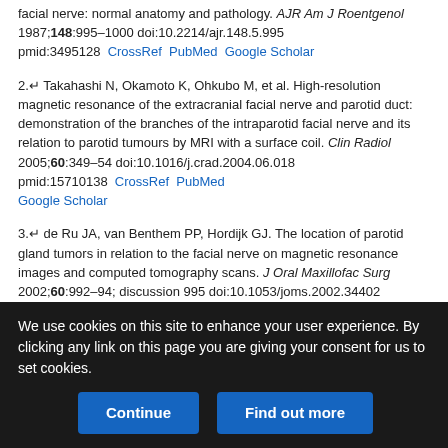facial nerve: normal anatomy and pathology. AJR Am J Roentgenol 1987;148:995–1000 doi:10.2214/ajr.148.5.995 pmid:3495128  CrossRef  PubMed  Google Scholar
2. ↵ Takahashi N, Okamoto K, Ohkubo M, et al. High-resolution magnetic resonance of the extracranial facial nerve and parotid duct: demonstration of the branches of the intraparotid facial nerve and its relation to parotid tumours by MRI with a surface coil. Clin Radiol 2005;60:349–54 doi:10.1016/j.crad.2004.06.018 pmid:15710138  CrossRef  PubMed  Google Scholar
3. ↵ de Ru JA, van Benthem PP, Hordijk GJ. The location of parotid gland tumors in relation to the facial nerve on magnetic resonance images and computed tomography scans. J Oral Maxillofac Surg 2002;60:992–94; discussion 995 doi:10.1053/joms.2002.34402 pmid:12215980  CrossRef  PubMed  Google Scholar
4. ↵ Asaumi K, Shimohira M, Rokutanda ...
We use cookies on this site to enhance your user experience. By clicking any link on this page you are giving your consent for us to set cookies.